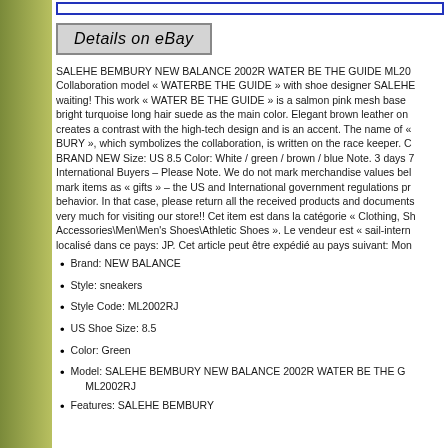[Figure (other): Blue bordered empty box at top]
[Figure (other): Details on eBay button/banner with gray background and dark border]
SALEHE BEMBURY NEW BALANCE 2002R WATER BE THE GUIDE ML200 Collaboration model « WATERBE THE GUIDE » with shoe designer SALEHE waiting! This work « WATER BE THE GUIDE » is a salmon pink mesh base bright turquoise long hair suede as the main color. Elegant brown leather on creates a contrast with the high-tech design and is an accent. The name of « BURY », which symbolizes the collaboration, is written on the race keeper. C BRAND NEW Size: US 8.5 Color: White / green / brown / blue Note. 3 days 7 International Buyers – Please Note. We do not mark merchandise values bel mark items as « gifts » – the US and International government regulations pr behavior. In that case, please return all the received products and documents very much for visiting our store!! Cet item est dans la catégorie « Clothing, Sh Accessories\Men\Men's Shoes\Athletic Shoes ». Le vendeur est « sail-intern localisé dans ce pays: JP. Cet article peut être expédié au pays suivant: Mon
Brand: NEW BALANCE
Style: sneakers
Style Code: ML2002RJ
US Shoe Size: 8.5
Color: Green
Model: SALEHE BEMBURY NEW BALANCE 2002R WATER BE THE G ML2002RJ
Features: SALEHE BEMBURY